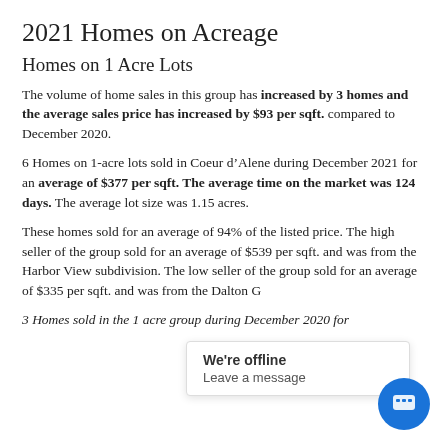2021 Homes on Acreage
Homes on 1 Acre Lots
The volume of home sales in this group has increased by 3 homes and the average sales price has increased by $93 per sqft. compared to December 2020.
6 Homes on 1-acre lots sold in Coeur d’Alene during December 2021 for an average of $377 per sqft. The average time on the market was 124 days. The average lot size was 1.15 acres.
These homes sold for an average of 94% of the listed price. The high seller of the group sold for an average of $539 per sqft. and was from the Harbor View subdivision. The low seller of the group sold for an average of $335 per sqft. and was from the Dalton G...
3 Homes sold in the 1 acre group during December 2020 for...